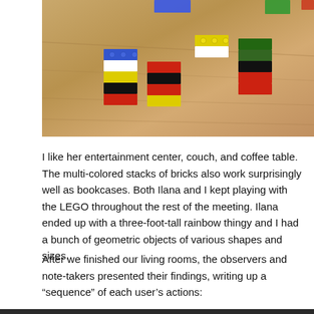[Figure (photo): Photograph of colorful LEGO bricks stacked in multi-colored arrangements on a light wooden table surface. Two groupings of bricks are visible, with colors including blue, green, yellow, white, red, and black.]
I like her entertainment center, couch, and coffee table. The multi-colored stacks of bricks also work surprisingly well as bookcases. Both Ilana and I kept playing with the LEGO throughout the rest of the meeting. Ilana ended up with a three-foot-tall rainbow thingy and I had a bunch of geometric objects of various shapes and sizes.
After we finished our living rooms, the observers and note-takers presented their findings, writing up a “sequence” of each user’s actions: